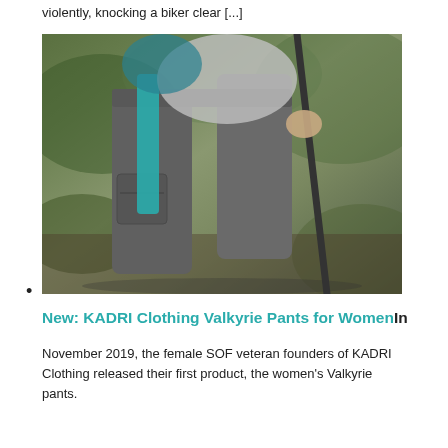violently, knocking a biker clear [...]
[Figure (photo): Close-up photo of a person wearing grey cargo pants (Valkyrie pants) and a teal/turquoise belt or waist accessory, hiking in a forest setting while holding trekking poles. The background shows blurred green foliage.]
•
New: KADRI Clothing Valkyrie Pants for Women In
November 2019, the female SOF veteran founders of KADRI Clothing released their first product, the women's Valkyrie pants.